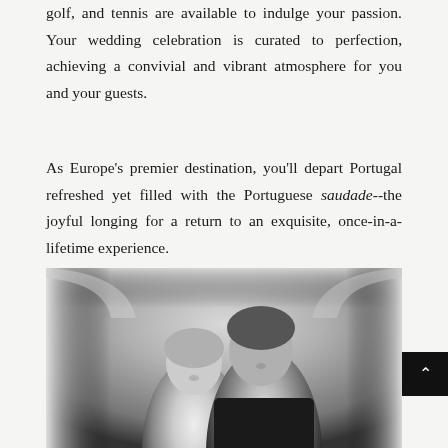golf, and tennis are available to indulge your passion. Your wedding celebration is curated to perfection, achieving a convivial and vibrant atmosphere for you and your guests.
As Europe’s premier destination, you’ll depart Portugal refreshed yet filled with the Portuguese saudade--the joyful longing for a return to an exquisite, once-in-a-lifetime experience.
[Figure (photo): Black and white photograph of a couple (bride and groom) smiling at each other, photographed through an arched architectural feature, likely inside a historic Portuguese venue.]